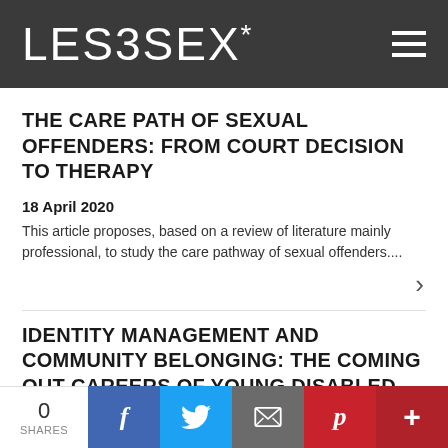LES3SEX*
THE CARE PATH OF SEXUAL OFFENDERS: FROM COURT DECISION TO THERAPY
18 April 2020
This article proposes, based on a review of literature mainly professional, to study the care pathway of sexual offenders....
IDENTITY MANAGEMENT AND COMMUNITY BELONGING: THE COMING OUT CAREERS OF YOUNG DISABLED LGBT+ PERSONS
17 April 2020